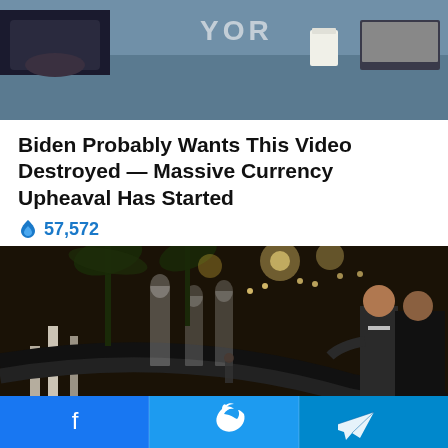[Figure (photo): Partial photo showing a person sitting at a desk/table, cropped, with text 'YOR' visible in background]
Biden Probably Wants This Video Destroyed — Massive Currency Upheaval Has Started
🔥 57,572
[Figure (photo): Interior of Mar-a-Lago estate showing ornate ballroom with chandeliers, palm trees, and two men in suits conversing on a balcony]
Was the FBI raid on President Trump's home
[Figure (infographic): Bottom social sharing bar with Facebook, Twitter, and Telegram buttons]